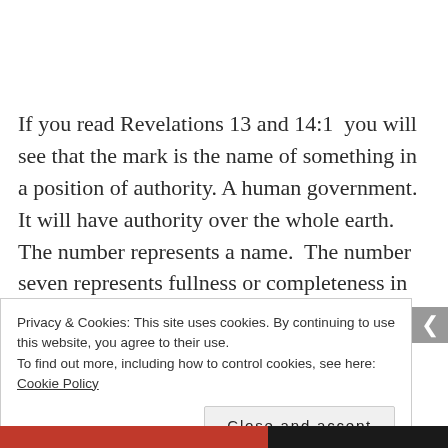If you read Revelations 13 and 14:1  you will see that the mark is the name of something in a position of authority. A human government. It will have authority over the whole earth. The number represents a name.  The number seven represents fullness or completeness in the bible. For example God completed the earth on the seventh day. In Matthew 18:22 Jesus emphasized the
Privacy & Cookies: This site uses cookies. By continuing to use this website, you agree to their use.
To find out more, including how to control cookies, see here: Cookie Policy
Close and accept